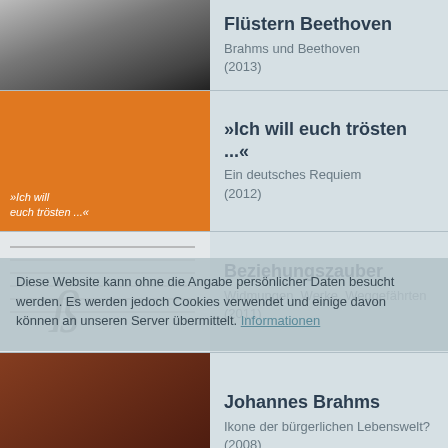Flüstern Beethoven
Brahms und Beethoven
(2013)
»Ich will euch trösten ...«
Ein deutsches Requiem
(2012)
Beziehungszauber
Widmungen, Werke, Weggefährten
(2011)
Johannes Brahms
Ikone der bürgerlichen Lebenswelt?
(2008)
»Ich schwelge in Mozart«
Mozart im Spiegel von Brahms
(2006)
Diese Website kann ohne die Angabe persönlicher Daten besucht werden. Es werden jedoch Cookies verwendet und einige davon können an unseren Server übermittelt. Informationen